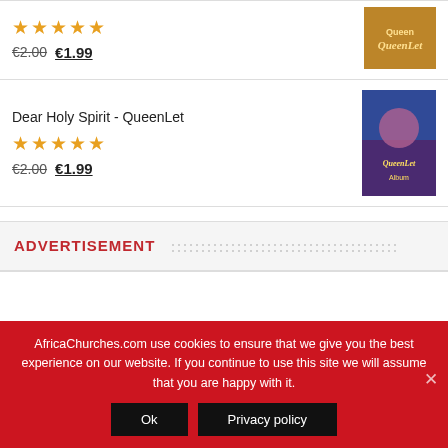€2.00 €1.99
[Figure (photo): Album cover thumbnail with golden/orange background showing QueenLet text]
Dear Holy Spirit - QueenLet
★★★★★
€2.00 €1.99
[Figure (photo): Album cover for Dear Holy Spirit - QueenLet, purple/blue background with singer]
ADVERTISEMENT
AfricaChurches.com use cookies to ensure that we give you the best experience on our website. If you continue to use this site we will assume that you are happy with it.
Ok
Privacy policy